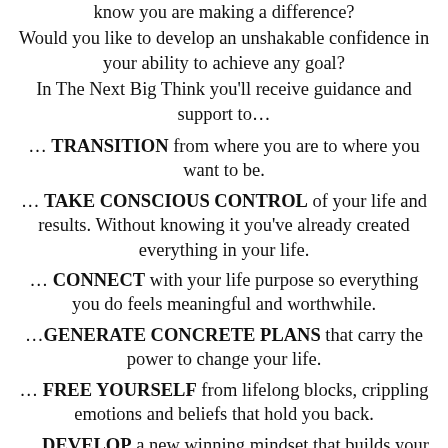know you are making a difference?
Would you like to develop an unshakable confidence in your ability to achieve any goal?
In The Next Big Think you'll receive guidance and support to…
… TRANSITION from where you are to where you want to be.
… TAKE CONSCIOUS CONTROL of your life and results. Without knowing it you've already created everything in your life.
… CONNECT with your life purpose so everything you do feels meaningful and worthwhile.
…GENERATE CONCRETE PLANS that carry the power to change your life.
… FREE YOURSELF from lifelong blocks, crippling emotions and beliefs that hold you back.
… DEVELOP a new winning mindset that builds your confidence, fuels your growth, and support you in the